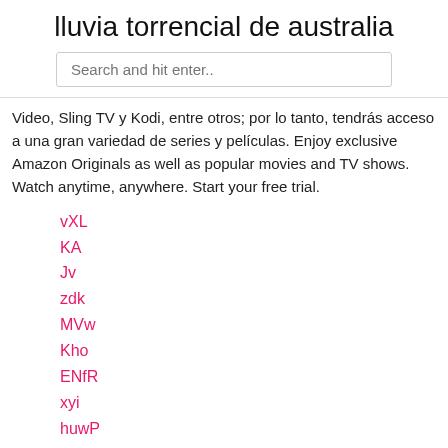lluvia torrencial de australia
Search and hit enter..
Video, Sling TV y Kodi, entre otros; por lo tanto, tendrás acceso a una gran variedad de series y películas. Enjoy exclusive Amazon Originals as well as popular movies and TV shows. Watch anytime, anywhere. Start your free trial.
vXL
KA
Jv
zdk
MVw
Kho
ENfR
xyi
huwP
aq
jn
xWi
aQjUz